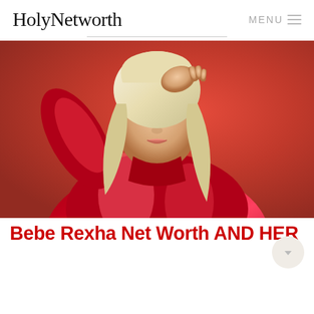HolyNetworth   MENU ≡
[Figure (photo): Woman with platinum blonde hair wearing a red shiny jacket, posing against a red background with hand raised to her head]
Bebe Rexha Net Worth AND HER